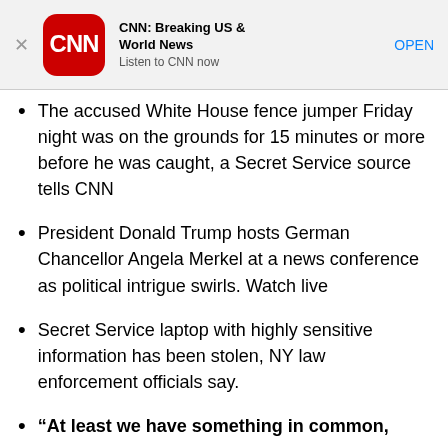[Figure (logo): CNN app banner advertisement with CNN logo, title 'CNN: Breaking US & World News', subtitle 'Listen to CNN now', and an OPEN button]
The accused White House fence jumper Friday night was on the grounds for 15 minutes or more before he was caught, a Secret Service source tells CNN
President Donald Trump hosts German Chancellor Angela Merkel at a news conference as political intrigue swirls. Watch live
Secret Service laptop with highly sensitive information has been stolen, NY law enforcement officials say.
“At least we have something in common,